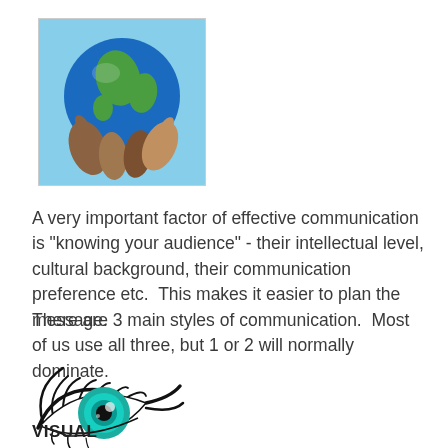[Figure (photo): Photo of hands holding up a globe of the Earth against a blue sky background]
A very important factor of effective communication is "knowing your audience" - their intellectual level, cultural background, their communication preference etc.  This makes it easier to plan the message.
There are 3 main styles of communication.  Most of us use all three, but 1 or 2 will normally dominate.
[Figure (illustration): Stylized illustration of a teal/turquoise eye with dramatic black lashes and liner]
VISUAL